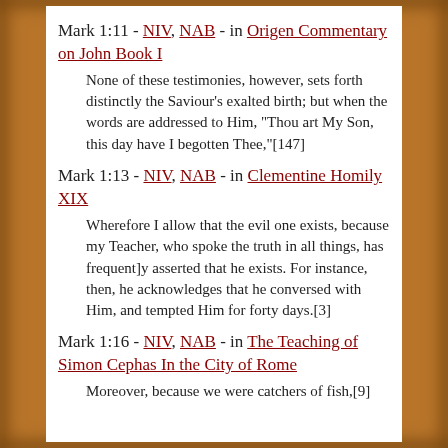Mark 1:11 - NIV, NAB - in Origen Commentary on John Book I
None of these testimonies, however, sets forth distinctly the Saviour's exalted birth; but when the words are addressed to Him, "Thou art My Son, this day have I begotten Thee,"[147]
Mark 1:13 - NIV, NAB - in Clementine Homily XIX
Wherefore I allow that the evil one exists, because my Teacher, who spoke the truth in all things, has frequent]y asserted that he exists. For instance, then, he acknowledges that he conversed with Him, and tempted Him for forty days.[3]
Mark 1:16 - NIV, NAB - in The Teaching of Simon Cephas In the City of Rome
Moreover, because we were catchers of fish,[9]